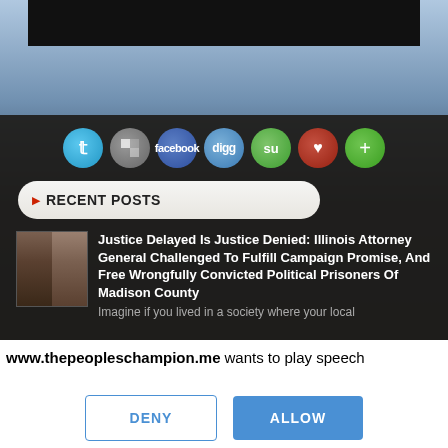[Figure (screenshot): Screenshot of a dark-themed website showing social sharing icons (Twitter, Share, Facebook, Digg, StumbleUpon, Heart, Plus) arranged in a row]
RECENT POSTS
Justice Delayed Is Justice Denied: Illinois Attorney General Challenged To Fulfill Campaign Promise, And Free Wrongfully Convicted Political Prisoners Of Madison County
Imagine if you lived in a society where your local
www.thepeopleschampion.me wants to play speech
DENY
ALLOW